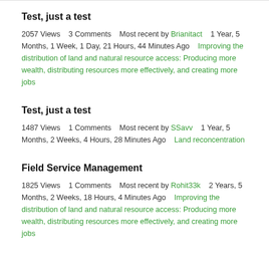Test, just a test
2057 Views    3 Comments    Most recent by Brianitact    1 Year, 5 Months, 1 Week, 1 Day, 21 Hours, 44 Minutes Ago    Improving the distribution of land and natural resource access: Producing more wealth, distributing resources more effectively, and creating more jobs
Test, just a test
1487 Views    1 Comments    Most recent by SSavv    1 Year, 5 Months, 2 Weeks, 4 Hours, 28 Minutes Ago    Land reconcentration
Field Service Management
1825 Views    1 Comments    Most recent by Rohit33k    2 Years, 5 Months, 2 Weeks, 18 Hours, 4 Minutes Ago    Improving the distribution of land and natural resource access: Producing more wealth, distributing resources more effectively, and creating more jobs